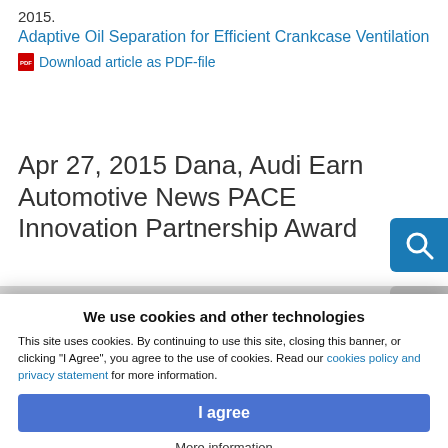2015:
Adaptive Oil Separation for Efficient Crankcase Ventilation
Download article as PDF-file
Apr 27, 2015 Dana, Audi Earn Automotive News PACE Innovation Partnership Award
We use cookies and other technologies
This site uses cookies. By continuing to use this site, closing this banner, or clicking "I Agree", you agree to the use of cookies. Read our cookies policy and privacy statement for more information.
I agree
More information